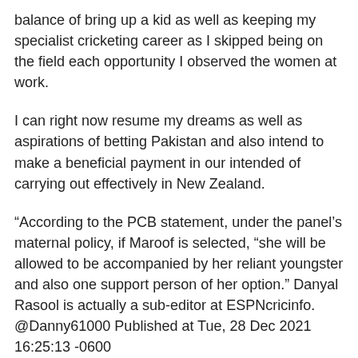balance of bring up a kid as well as keeping my specialist cricketing career as I skipped being on the field each opportunity I observed the women at work.
I can right now resume my dreams as well as aspirations of betting Pakistan and also intend to make a beneficial payment in our intended of carrying out effectively in New Zealand.
“According to the PCB statement, under the panel’s maternal policy, if Maroof is selected, “she will be allowed to be accompanied by her reliant youngster and also one support person of her option.” Danyal Rasool is actually a sub-editor at ESPNcricinfo. @Danny61000 Published at Tue, 28 Dec 2021 16:25:13 -0600
Follow Us